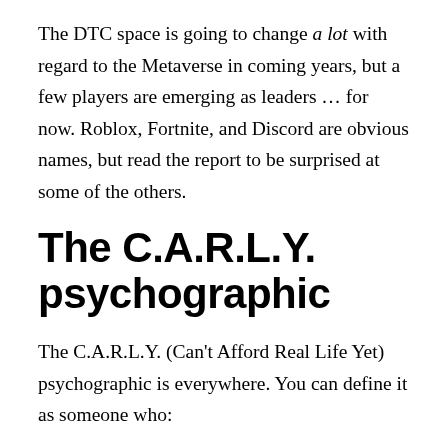The DTC space is going to change a lot with regard to the Metaverse in coming years, but a few players are emerging as leaders … for now. Roblox, Fortnite, and Discord are obvious names, but read the report to be surprised at some of the others.
The C.A.R.L.Y. psychographic
The C.A.R.L.Y. (Can't Afford Real Life Yet) psychographic is everywhere. You can define it as someone who:
Shares expenses with their peer group